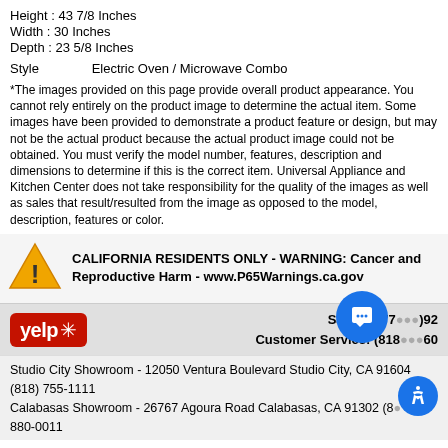Height : 43 7/8 Inches
Width : 30 Inches
Depth : 23 5/8 Inches
Style	Electric Oven / Microwave Combo
*The images provided on this page provide overall product appearance. You cannot rely entirely on the product image to determine the actual item. Some images have been provided to demonstrate a product feature or design, but may not be the actual product because the actual product image could not be obtained. You must verify the model number, features, description and dimensions to determine if this is the correct item. Universal Appliance and Kitchen Center does not take responsibility for the quality of the images as well as sales that result/resulted from the image as opposed to the model, description, features or color.
CALIFORNIA RESIDENTS ONLY - WARNING: Cancer and Reproductive Harm - www.P65Warnings.ca.gov
Yelp | Sales: (877) [number] | Customer Service: (818) [number] | Studio City Showroom - 12050 Ventura Boulevard Studio City, CA 91604 (818) 755-1111 | Calabasas Showroom - 26767 Agoura Road Calabasas, CA 91302 (8...) 880-0011